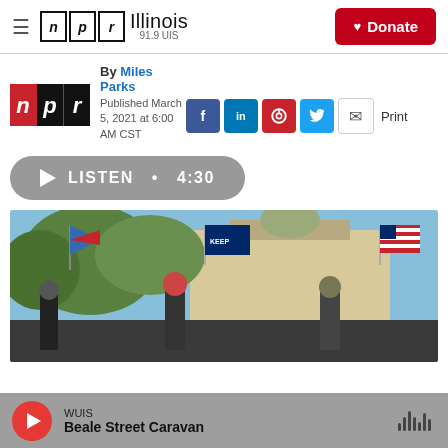NPR Illinois 91.9 UIS — Donate
By Miles Parks
Published March 5, 2021 at 6:00 AM CST
[Figure (logo): NPR logo — red square with white n, black square with p, black square with r]
LISTEN • 4:30
[Figure (photo): People waving flags including a Trump flag and an American flag in front of a large building with a dome, outdoors on a sunny autumn day.]
WUIS — Beale Street Caravan